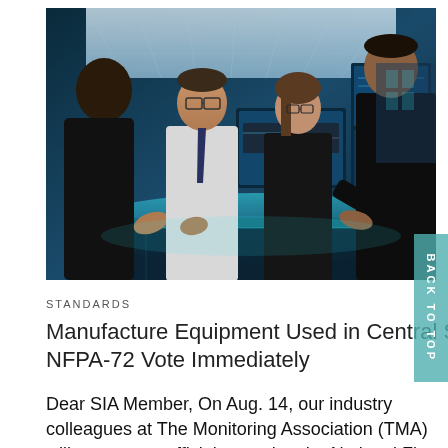[Figure (photo): Four professionals in a high-tech control room or operations center, gathered around a large illuminated display table. One woman in a black top and three men in business attire are looking at and interacting with screens and the table surface. Background shows large monitor screens with data.]
STANDARDS
Manufacture Equipment Used in Central Stations? Support TMA's Appeal of NFPA-72 Vote Immediately
Dear SIA Member, On Aug. 14, our industry colleagues at The Monitoring Association (TMA) will present an official appeal to the National Fire Protection